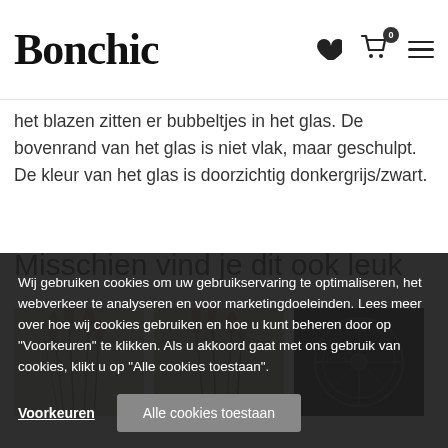Bonchic [logo with heart, cart (0), menu icons]
het blazen zitten er bubbeltjes in het glas. De bovenrand van het glas is niet vlak, maar geschulpt. De kleur van het glas is doorzichtig donkergrijs/zwart.
Misschien vind je dit ook leuk
[Figure (photo): Three product photos side by side showing decorative items with dried grasses/plants on light backgrounds and a dark circular decorative object]
Wij gebruiken cookies om uw gebruikservaring te optimaliseren, het webverkeer te analyseren en voor marketingdoeleinden. Lees meer over hoe wij cookies gebruiken en hoe u kunt beheren door op "Voorkeuren" te klikken. Als u akkoord gaat met ons gebruik van cookies, klikt u op "Alle cookies toestaan".
Voorkeuren
Alle cookies toestaan